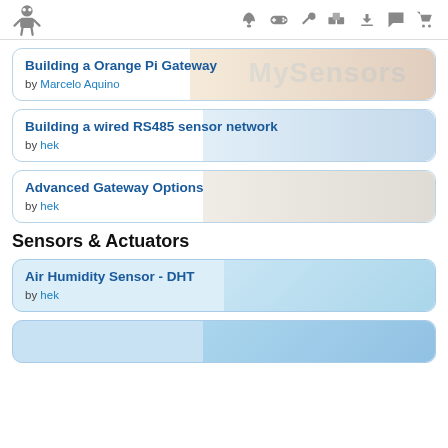MySensors navigation header
Building a Orange Pi Gateway
by Marcelo Aquino
Building a wired RS485 sensor network
by hek
Advanced Gateway Options
by hek
Sensors & Actuators
Air Humidity Sensor - DHT
by hek